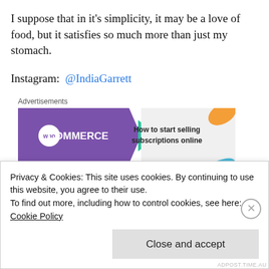I suppose that in it's simplicity, it may be a love of food, but it satisfies so much more than just my stomach.
Instagram: @IndiaGarrett
[Figure (other): WooCommerce advertisement banner: purple background with WooCommerce logo on left, green arrow pointing right, text 'How to start selling subscriptions online' on right with orange and blue decorative shapes]
Twitter: @IndiaGarrett
Privacy & Cookies: This site uses cookies. By continuing to use this website, you agree to their use.
To find out more, including how to control cookies, see here:
Cookie Policy
Close and accept